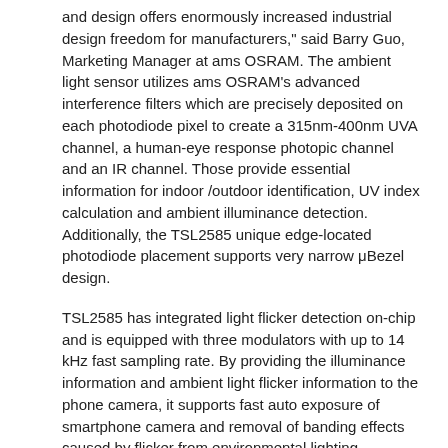and design offers enormously increased industrial design freedom for manufacturers," said Barry Guo, Marketing Manager at ams OSRAM. The ambient light sensor utilizes ams OSRAM's advanced interference filters which are precisely deposited on each photodiode pixel to create a 315nm-400nm UVA channel, a human-eye response photopic channel and an IR channel. Those provide essential information for indoor /outdoor identification, UV index calculation and ambient illuminance detection. Additionally, the TSL2585 unique edge-located photodiode placement supports very narrow μBezel design.
TSL2585 has integrated light flicker detection on-chip and is equipped with three modulators with up to 14 kHz fast sampling rate. By providing the illuminance information and ambient light flicker information to the phone camera, it supports fast auto exposure of smartphone camera and removal of banding effects caused by flicker from environmental lighting.
The compact dimensions of the extremely flat package of only 2.0 mm x 1.0 mm x 0.35 mm allow for space-saving system designs helping manufacturers of extremely compact devices. The sensor can be operated with a voltage of 1.8V and consumes only 0.7μA when inactive.
For more information, please visit http://www.ams.com.